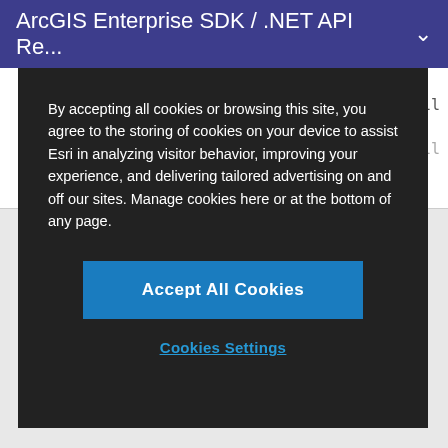ArcGIS Enterprise SDK / .NET API Re...
[Figure (screenshot): Code area showing //intersectionPointColl in monospace font on white background]
By accepting all cookies or browsing this site, you agree to the storing of cookies on your device to assist Esri in analyzing visitor behavior, improving your experience, and delivering tailored advertising on and off our sites. Manage cookies here or at the bottom of any page.
Accept All Cookies
Cookies Settings